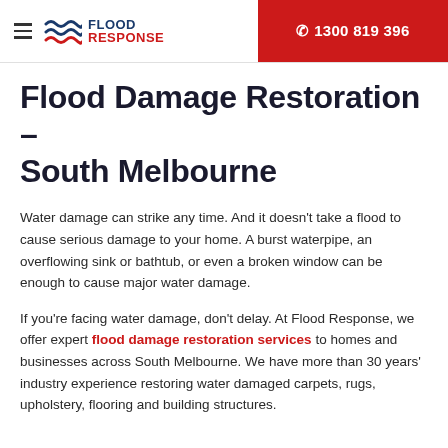Flood Response — 1300 819 396
Flood Damage Restoration – South Melbourne
Water damage can strike any time. And it doesn't take a flood to cause serious damage to your home. A burst waterpipe, an overflowing sink or bathtub, or even a broken window can be enough to cause major water damage.
If you're facing water damage, don't delay. At Flood Response, we offer expert flood damage restoration services to homes and businesses across South Melbourne. We have more than 30 years' industry experience restoring water damaged carpets, rugs, upholstery, flooring and building structures.